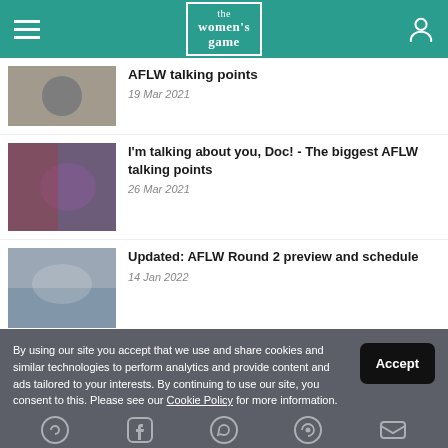the women's game
AFLW talking points
19 Mar 2021
I'm talking about you, Doc! - The biggest AFLW talking points
26 Mar 2021
Updated: AFLW Round 2 preview and schedule
14 Jan 2022
By using our site you accept that we use and share cookies and similar technologies to perform analytics and provide content and ads tailored to your interests. By continuing to use our site, you consent to this. Please see our Cookie Policy for more information.